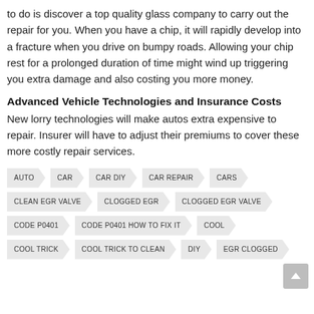to do is discover a top quality glass company to carry out the repair for you. When you have a chip, it will rapidly develop into a fracture when you drive on bumpy roads. Allowing your chip rest for a prolonged duration of time might wind up triggering you extra damage and also costing you more money.
Advanced Vehicle Technologies and Insurance Costs
New lorry technologies will make autos extra expensive to repair. Insurer will have to adjust their premiums to cover these more costly repair services.
AUTO
CAR
CAR DIY
CAR REPAIR
CARS
CLEAN EGR VALVE
CLOGGED EGR
CLOGGED EGR VALVE
CODE P0401
CODE P0401 HOW TO FIX IT
COOL
COOL TRICK
COOL TRICK TO CLEAN
DIY
EGR CLOGGED